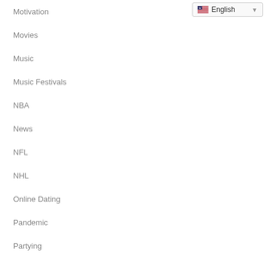Motivation
[Figure (screenshot): English language selector dropdown with US flag]
Movies
Music
Music Festivals
NBA
News
NFL
NHL
Online Dating
Pandemic
Partying